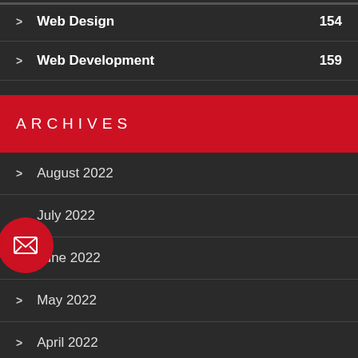Web Design 154
Web Development 159
ARCHIVES
August 2022
July 2022
June 2022
May 2022
April 2022
March 2022
February 2022
[Figure (illustration): Red circle with envelope/mail icon, overlapping left edge of the page near July 2022 row]